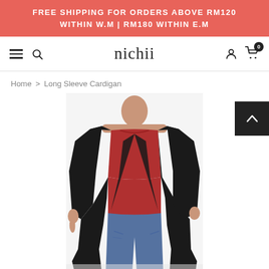FREE SHIPPING FOR ORDERS ABOVE RM120 WITHIN W.M | RM180 WITHIN E.M
nichii   0
Home > Long Sleeve Cardigan
[Figure (photo): A woman wearing a long black open-front cardigan over a red top and blue jeans, posing with hand on hip against a white background.]